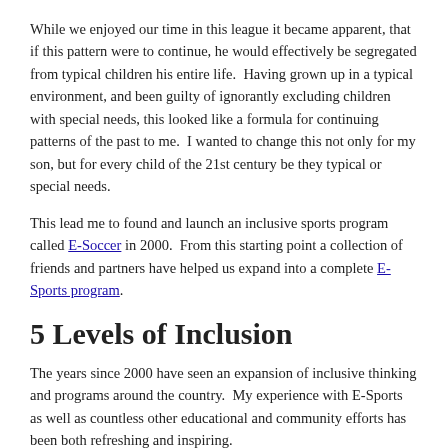While we enjoyed our time in this league it became apparent, that if this pattern were to continue, he would effectively be segregated from typical children his entire life.  Having grown up in a typical environment, and been guilty of ignorantly excluding children with special needs, this looked like a formula for continuing patterns of the past to me.  I wanted to change this not only for my son, but for every child of the 21st century be they typical or special needs.
This lead me to found and launch an inclusive sports program called E-Soccer in 2000.  From this starting point a collection of friends and partners have helped us expand into a complete E-Sports program.
5 Levels of Inclusion
The years since 2000 have seen an expansion of inclusive thinking and programs around the country.  My experience with E-Sports as well as countless other educational and community efforts has been both refreshing and inspiring.
I have learned inclusive programs create empathy in typical children and confidence in those with special needs. While our focus of inclusion…